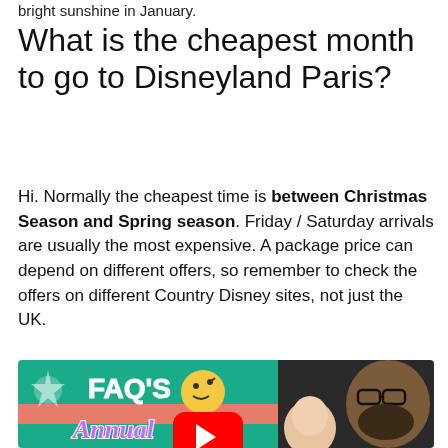bright sunshine in January.
What is the cheapest month to go to Disneyland Paris?
Hi. Normally the cheapest time is between Christmas Season and Spring season. Friday / Saturday arrivals are usually the most expensive. A package price can depend on different offers, so remember to check the offers on different Country Disney sites, not just the UK.
[Figure (screenshot): YouTube video thumbnail showing 'FAQ'S Annual' text on a teal/pink background with a thinking emoji, a YouTube play button, and two people (a woman and a bearded man with glasses) on the right side.]